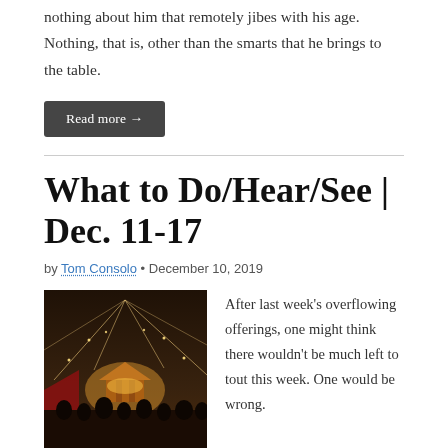nothing about him that remotely jibes with his age. Nothing, that is, other than the smarts that he brings to the table.
Read more →
What to Do/Hear/See | Dec. 11-17
by Tom Consolo • December 10, 2019
[Figure (photo): Night photo of an outdoor holiday market with string lights and a gazebo lit in warm amber light, crowds of people visible below.]
After last week's overflowing offerings, one might think there wouldn't be much left to tout this week. One would be wrong.